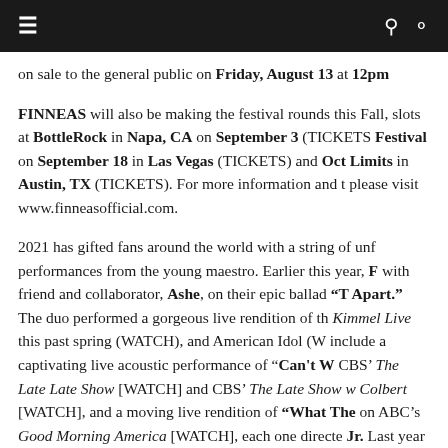≡  [search icon] [user icon]
on sale to the general public on Friday, August 13 at 12pm…
FINNEAS will also be making the festival rounds this Fall, slots at BottleRock in Napa, CA on September 3 (TICKETS Festival on September 18 in Las Vegas (TICKETS) and Oct Limits in Austin, TX (TICKETS). For more information and please visit www.finneasofficial.com.
2021 has gifted fans around the world with a string of unf performances from the young maestro. Earlier this year, F with friend and collaborator, Ashe, on their epic ballad "T Apart." The duo performed a gorgeous live rendition of th Kimmel Live this past spring (WATCH), and American Idol ( include a captivating live acoustic performance of "Can't W CBS' The Late Late Show [WATCH] and CBS' The Late Show w Colbert [WATCH], and a moving live rendition of "What The on ABC's Good Morning America [WATCH], each one directe Jr. Last year saw a steady stream of stellar releases from including his first holiday song ("Another Year"), which fo "Where The Poison Is" [LISTEN] and "Can't Wait To Be De